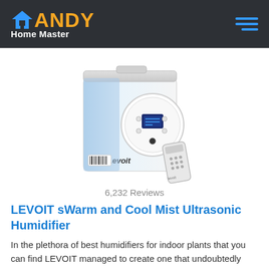HANDY Home Master
[Figure (photo): LEVOIT Warm and Cool Mist Ultrasonic Humidifier product photo showing a white rectangular humidifier with circular control panel and LCD display, with a remote control in front.]
6,232 Reviews
LEVOIT sWarm and Cool Mist Ultrasonic Humidifier
In the plethora of best humidifiers for indoor plants that you can find LEVOIT managed to create one that undoubtedly stands out because of its amazing features. It has quite a big tank